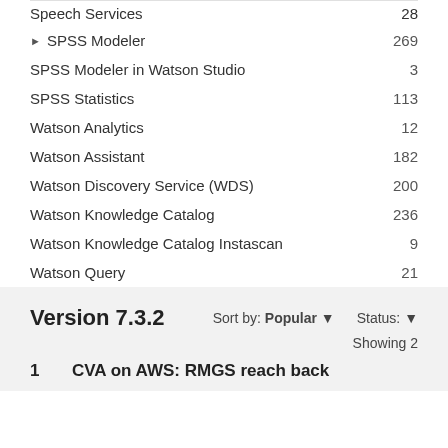Speech Services  28
▶ SPSS Modeler  269
SPSS Modeler in Watson Studio  3
SPSS Statistics  113
Watson Analytics  12
Watson Assistant  182
Watson Discovery Service (WDS)  200
Watson Knowledge Catalog  236
Watson Knowledge Catalog Instascan  9
Watson Query  21
Version 7.3.2
Sort by: Popular ▼   Status: ▼
Showing 2
1   CVA on AWS: RMGS reach back